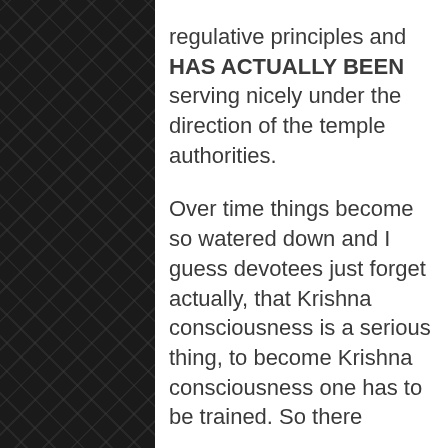regulative principles and HAS ACTUALLY BEEN serving nicely under the direction of the temple authorities.

Over time things become so watered down and I guess devotees just forget actually, that Krishna consciousness is a serious thing, to become Krishna consciousness one has to be trained. So there